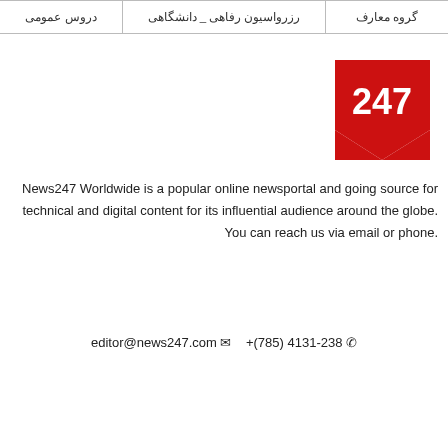| دروس عمومی | رزرواسیون رفاهی _ دانشگاهی | گروه معارف |
| --- | --- | --- |
[Figure (logo): News247 logo — red angular chevron/arrow shape with white text '247']
News247 Worldwide is a popular online newsportal and going source for technical and digital content for its influential audience around the globe. You can reach us via email or phone.
editor@news247.com  ✉   + (785) 4131-238  ☎